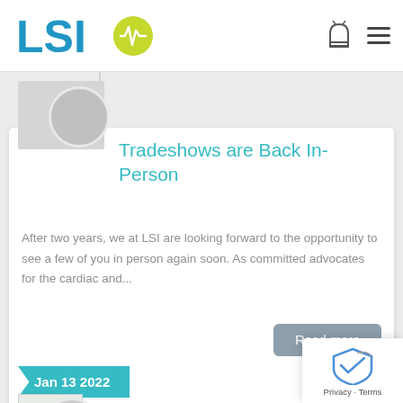[Figure (logo): LSI logo with teal text and yellow-green circle containing heartbeat line icon]
Tradeshows are Back In-Person
After two years, we at LSI are looking forward to the opportunity to see a few of you in person again soon. As committed advocates for the cardiac and...
Read more
Jan 13 2022
Pulmonary Rehab